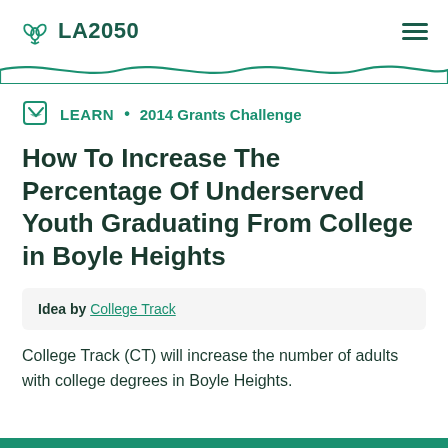LA2050
LEARN • 2014 Grants Challenge
How To Increase The Percentage Of Underserved Youth Graduating From College in Boyle Heights
Idea by College Track
College Track (CT) will increase the number of adults with college degrees in Boyle Heights.